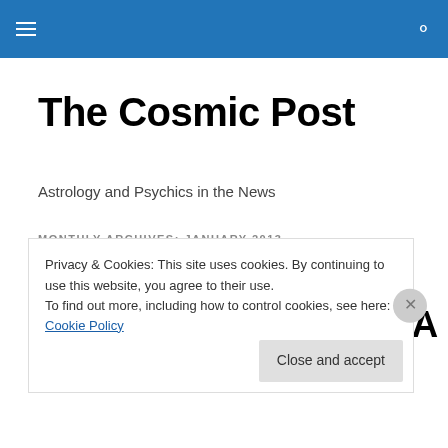The Cosmic Post — site navigation header with hamburger menu and search icon
The Cosmic Post
Astrology and Psychics in the News
MONTHLY ARCHIVES: JANUARY 2013
How Are Journalists Covering Astrology? A View On The
Privacy & Cookies: This site uses cookies. By continuing to use this website, you agree to their use.
To find out more, including how to control cookies, see here: Cookie Policy
Close and accept